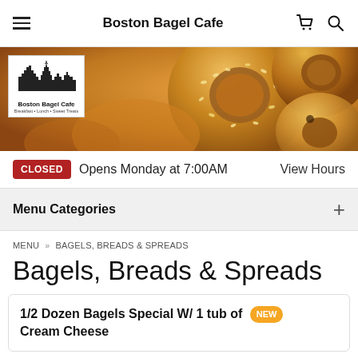Boston Bagel Cafe
[Figure (photo): Hero image of bagels with Boston Bagel Cafe logo overlay]
CLOSED  Opens Monday at 7:00AM  View Hours
Menu Categories +
MENU > BAGELS, BREADS & SPREADS
Bagels, Breads & Spreads
1/2 Dozen Bagels Special W/ 1 tub of Cream Cheese NEW